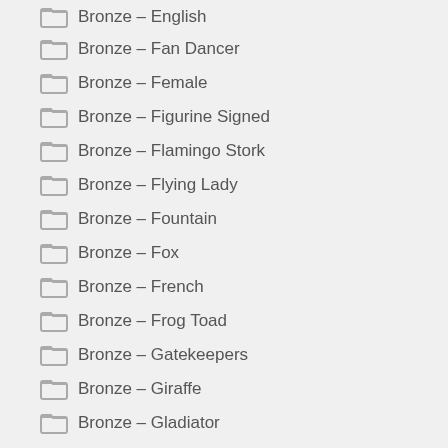Bronze – English
Bronze – Fan Dancer
Bronze – Female
Bronze – Figurine Signed
Bronze – Flamingo Stork
Bronze – Flying Lady
Bronze – Fountain
Bronze – Fox
Bronze – French
Bronze – Frog Toad
Bronze – Gatekeepers
Bronze – Giraffe
Bronze – Gladiator